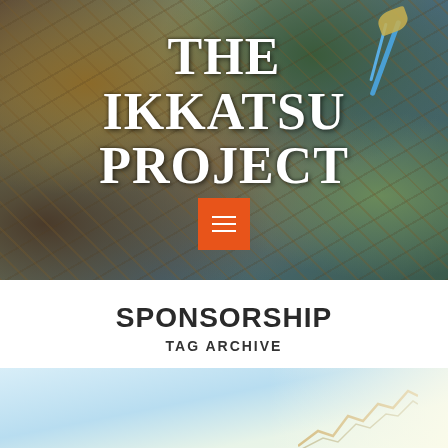[Figure (photo): Hero image of nature debris (twigs, sticks, leaves) with 'THE IKKATSU PROJECT' text overlay and orange hamburger menu button]
SPONSORSHIP
TAG ARCHIVE
[Figure (photo): Partial bottom image showing light blue/teal tones, appears to be a nature or water scene]